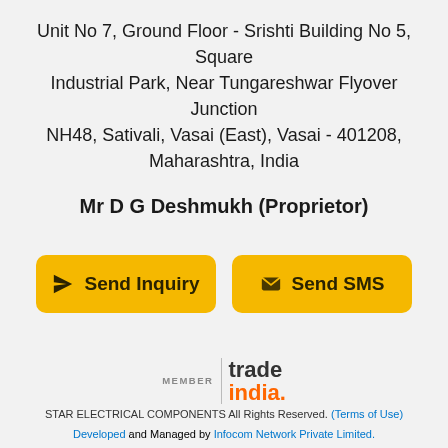Unit No 7, Ground Floor - Srishti Building No 5, Square Industrial Park, Near Tungareshwar Flyover Junction NH48, Sativali, Vasai (East), Vasai - 401208, Maharashtra, India
Mr D G Deshmukh (Proprietor)
[Figure (other): Two yellow buttons: 'Send Inquiry' with paper plane icon and 'Send SMS' with envelope icon]
[Figure (logo): TradeIndia member logo with MEMBER label on left separated by vertical bar, and 'trade india.' text on right in two lines with orange dot]
STAR ELECTRICAL COMPONENTS All Rights Reserved. (Terms of Use)
Developed and Managed by Infocom Network Private Limited.